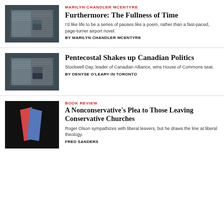[Figure (photo): Open newspaper spread on dark background]
MARILYN CHANDLER MCENTYRE
Furthermore: The Fullness of Time
I'd like life to be a series of pauses like a poem, rather than a fast-paced, page-turner airport novel.
BY MARILYN CHANDLER MCENTYRE
[Figure (photo): Open newspaper spread on dark background]
Pentecostal Shakes up Canadian Politics
Stockwell Day, leader of Canadian Alliance, wins House of Commons seat.
BY DENYSE O'LEARY IN TORONTO
[Figure (photo): Red and blue abstract book shapes on black background]
BOOK REVIEW
A Nonconservative's Plea to Those Leaving Conservative Churches
Roger Olson sympathizes with liberal leavers, but he draws the line at liberal theology.
FRED SANDERS